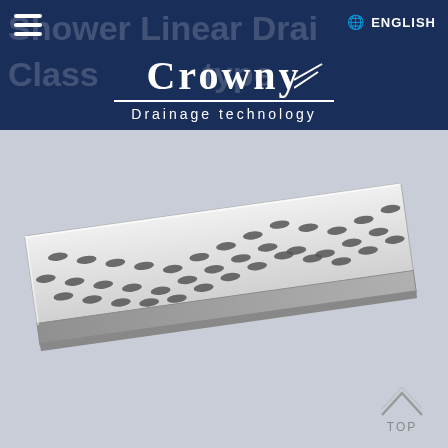Shower Linear Drain | ENGLISH
Crowny
Drainage technology
[Figure (photo): A stainless steel linear shower drain grate with an oval/leaf-shaped perforated pattern, photographed at an angle on a light grey background. The drain is long and narrow with decorative cutouts arranged in diagonal rows.]
TOP